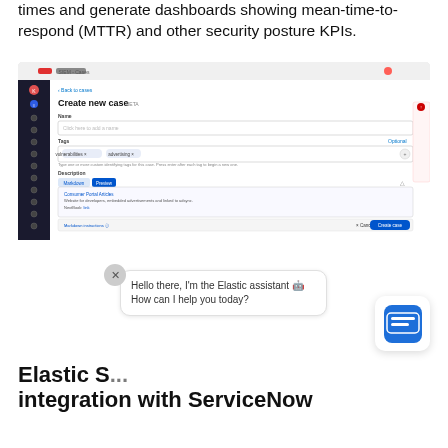times and generate dashboards showing mean-time-to-respond (MTTR) and other security posture KPIs.
[Figure (screenshot): Elastic Security SIEM Cases UI showing 'Create new case' form with Name, Tags, and Description fields. Tags include 'vulnerabilities' and 'advertising'. Description section shows Markdown/Preview tabs with content about developer portals and Nextbook link. A 'Create case' button is visible in the bottom right.]
Hello there, I'm the Elastic assistant 🤖 How can I help you today?
Elastic Security integration with ServiceNow